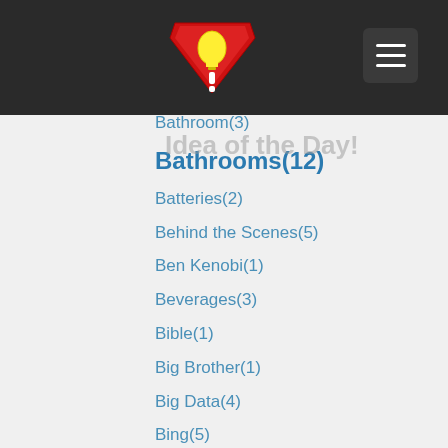Idea of the Day!
Baseball(7)
Baseball Cards(2)
Basketball(1)
Bathroom(3)
Bathrooms(12)
Batteries(2)
Behind the Scenes(5)
Ben Kenobi(1)
Beverages(3)
Bible(1)
Big Brother(1)
Big Data(4)
Bing(5)
Bio Foods(1)
Bitcoins(1)
Blog(1)
Bloom County(1)
Bluetooth(6)
Books(3)
Bottled Water(1)